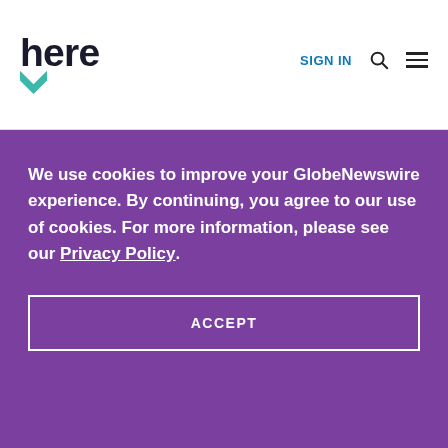[Figure (logo): HERE Technologies logo — stylized word 'here' with a teal downward-pointing arrow/chevron beneath it]
SIGN IN
We use cookies to improve your GlobeNewswire experience. By continuing, you agree to our use of cookies. For more information, please see our Privacy Policy.
ACCEPT